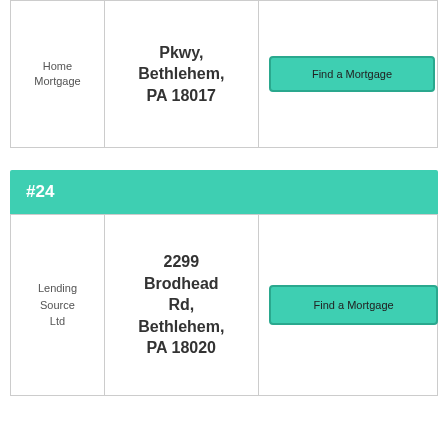| Type | Address | Action |
| --- | --- | --- |
| Home Mortgage | Pkwy, Bethlehem, PA 18017 | Find a Mortgage |
#24
| Type | Address | Action |
| --- | --- | --- |
| Lending Source Ltd | 2299 Brodhead Rd, Bethlehem, PA 18020 | Find a Mortgage |